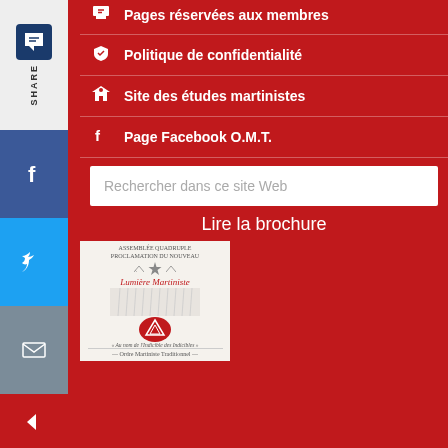Pages réservées aux membres
Politique de confidentialité
Site des études martinistes
Page Facebook O.M.T.
Rechercher dans ce site Web
Lire la brochure
[Figure (illustration): Book cover of Lumière Martiniste with red circular emblem and organizational details]